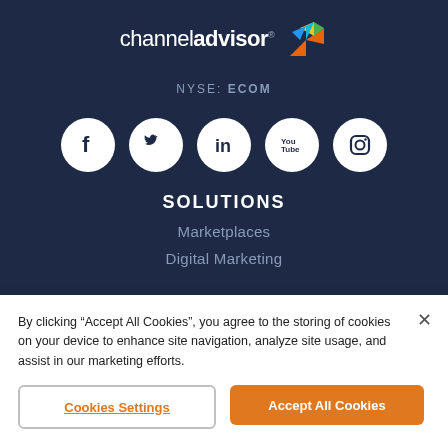[Figure (logo): ChannelAdvisor logo with colorful arrow/chevron icon and white wordmark text 'channeladvisor']
NYSE: ECOM
[Figure (infographic): Five social media icons in white circles on dark navy background: Facebook, Twitter, LinkedIn, YouTube, Instagram]
SOLUTIONS
Marketplaces
Digital Marketing
By clicking “Accept All Cookies”, you agree to the storing of cookies on your device to enhance site navigation, analyze site usage, and assist in our marketing efforts.
Cookies Settings
Accept All Cookies